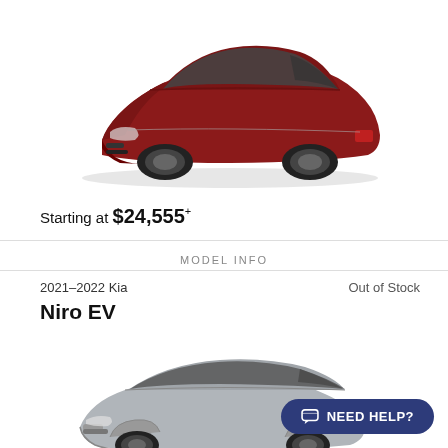[Figure (photo): Dark red/maroon Kia K5 sedan shown in three-quarter front view against white background]
Starting at $24,555+
MODEL INFO
Out of Stock
2021–2022 Kia
Niro EV
[Figure (photo): Silver/gray Kia Niro EV crossover SUV shown in three-quarter front view against white background]
NEED HELP?